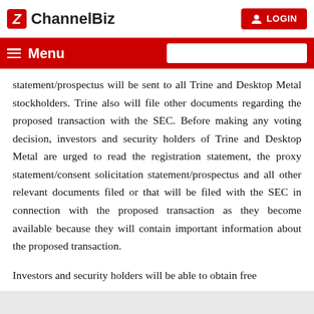ChannelBiz — LOGIN
statement/prospectus will be sent to all Trine and Desktop Metal stockholders. Trine also will file other documents regarding the proposed transaction with the SEC. Before making any voting decision, investors and security holders of Trine and Desktop Metal are urged to read the registration statement, the proxy statement/consent solicitation statement/prospectus and all other relevant documents filed or that will be filed with the SEC in connection with the proposed transaction as they become available because they will contain important information about the proposed transaction.

Investors and security holders will be able to obtain free